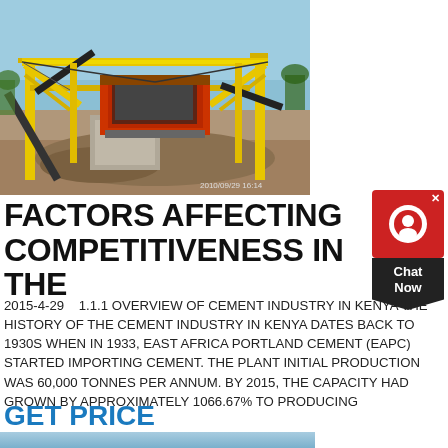[Figure (photo): Industrial cement plant / stone crusher machinery with yellow metal frame structures, conveyor belts, and rocky ground. Timestamp visible: 2010/09/29 16:14]
FACTORS AFFECTING COMPETITIVENESS IN THE
2015-4-29    1.1.1 OVERVIEW OF CEMENT INDUSTRY IN KENYA THE HISTORY OF THE CEMENT INDUSTRY IN KENYA DATES BACK TO 1930S WHEN IN 1933, EAST AFRICA PORTLAND CEMENT (EAPC) STARTED IMPORTING CEMENT. THE PLANT INITIAL PRODUCTION WAS 60,000 TONNES PER ANNUM. BY 2015, THE CAPACITY HAD GROWN BY APPROXIMATELY 1066.67% TO PRODUCING
GET PRICE
[Figure (photo): Partial bottom photo showing blue/white industrial scene, cut off at page bottom]